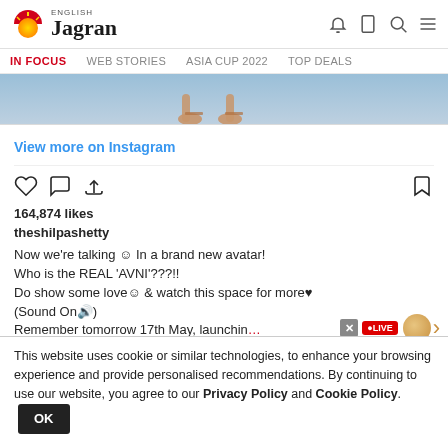ENGLISH Jagran | IN FOCUS | WEB STORIES | ASIA CUP 2022 | TOP DEALS
[Figure (photo): Cropped photo showing feet/ankles of a person on a stage or floor, bluish background]
View more on Instagram
164,874 likes
theshilpashetty
Now we're talking ☺ In a brand new avatar!
Who is the REAL 'AVNI'???!!
Do show some love☺ & watch this space for more♥
(Sound On🔊)
Remember tomorrow 17th May, launchin
This website uses cookie or similar technologies, to enhance your browsing experience and provide personalised recommendations. By continuing to use our website, you agree to our Privacy Policy and Cookie Policy.